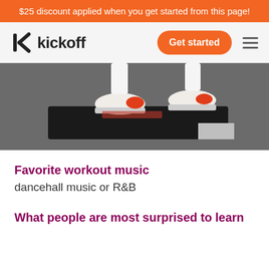$25 discount applied when you get started from this page!
[Figure (logo): Kickoff logo with stylized K icon and wordmark 'kickoff', plus Get started button and hamburger menu]
[Figure (photo): Close-up photo of person's feet wearing white and orange sneakers standing on a black aerobics step platform on a gym floor]
Favorite workout music
dancehall music or R&B
What people are most surprised to learn